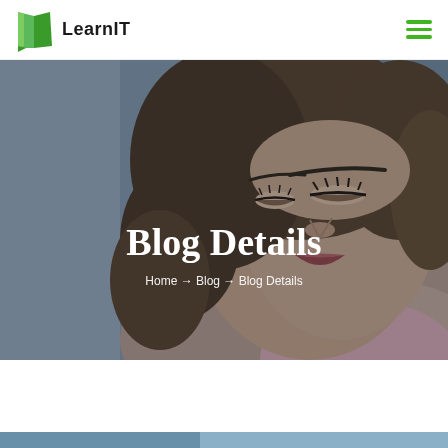LearnIT
[Figure (photo): Close-up photo of a young woman with brown curly hair, eyes partially closed, looking downward. The background is blurred in grey/blue tones. Text overlay reads 'Blog Details' with breadcrumb navigation 'Home → Blog → Blog Details']
Blog Details
Home → Blog → Blog Details